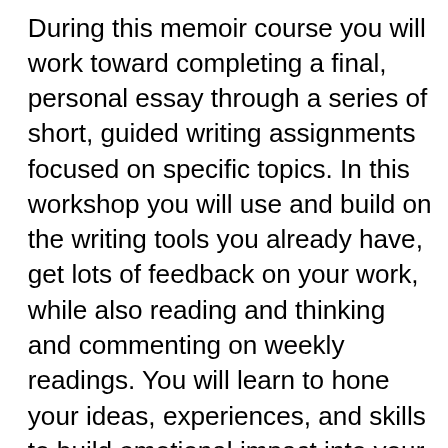During this memoir course you will work toward completing a final, personal essay through a series of short, guided writing assignments focused on specific topics. In this workshop you will use and build on the writing tools you already have, get lots of feedback on your work, while also reading and thinking and commenting on weekly readings. You will learn to hone your ideas, experiences, and skills to build emotional impact into your personal stories.
Biography
Ann Hood is the
[Figure (photo): Partial photo visible at bottom right, showing what appears to be a person or object with warm tones]